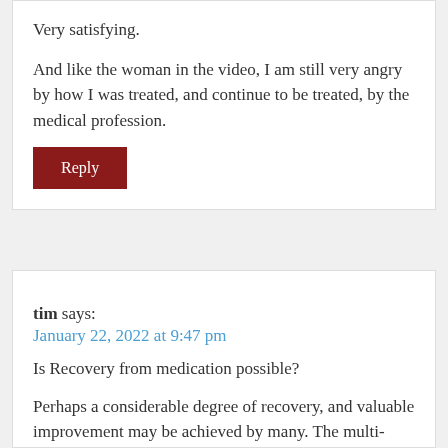Very satisfying.
And like the woman in the video, I am still very angry by how I was treated, and continue to be treated, by the medical profession.
Reply
tim says:
January 22, 2022 at 9:47 pm
Is Recovery from medication possible?
Perhaps a considerable degree of recovery, and valuable improvement may be achieved by many. The multi-systems, severe physical injuries resulting from generalised psycholeptic